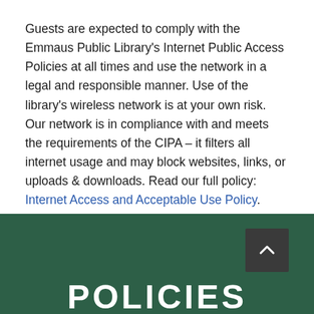Guests are expected to comply with the Emmaus Public Library's Internet Public Access Policies at all times and use the network in a legal and responsible manner. Use of the library's wireless network is at your own risk. Our network is in compliance with and meets the requirements of the CIPA – it filters all internet usage and may block websites, links, or uploads & downloads. Read our full policy: Internet Access and Acceptable Use Policy.
POLICIES